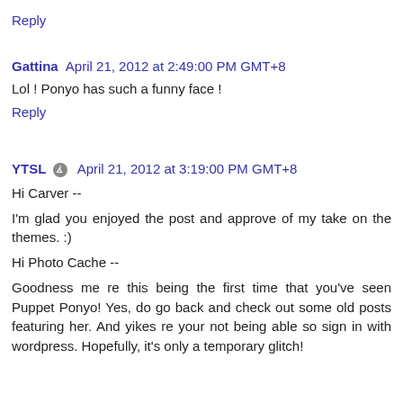Reply
Gattina  April 21, 2012 at 2:49:00 PM GMT+8
Lol ! Ponyo has such a funny face !
Reply
YTSL  April 21, 2012 at 3:19:00 PM GMT+8
Hi Carver --
I'm glad you enjoyed the post and approve of my take on the themes. :)
Hi Photo Cache --
Goodness me re this being the first time that you've seen Puppet Ponyo! Yes, do go back and check out some old posts featuring her. And yikes re your not being able so sign in with wordpress. Hopefully, it's only a temporary glitch!